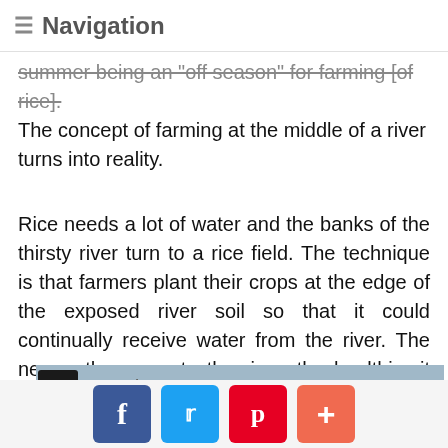≡ Navigation
summer being an 'off season' for farming [of rice]. The concept of farming at the middle of a river turns into reality.
Rice needs a lot of water and the banks of the thirsty river turn to a rice field. The technique is that farmers plant their crops at the edge of the exposed river soil so that it could continually receive water from the river. The nearer the crops to the river, the healthier it looks.
[Figure (photo): Photo of bamboo/wooden dock structures over a river, with water visible in the background and a green arrow button overlay in the top-left corner.]
Social share buttons: Facebook, Twitter, Pinterest, Plus